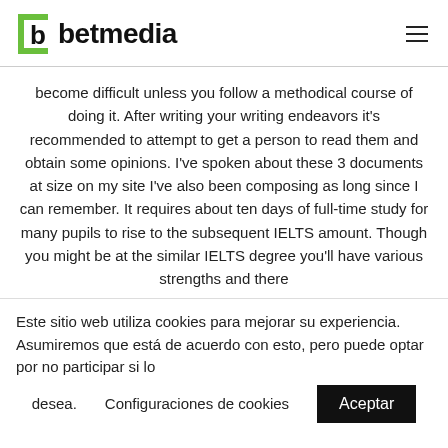betmedia
become difficult unless you follow a methodical course of doing it. After writing your writing endeavors it's recommended to attempt to get a person to read them and obtain some opinions. I've spoken about these 3 documents at size on my site I've also been composing as long since I can remember. It requires about ten days of full-time study for many pupils to rise to the subsequent IELTS amount. Though you might be at the similar IELTS degree you'll have various strengths and there
Este sitio web utiliza cookies para mejorar su experiencia. Asumiremos que está de acuerdo con esto, pero puede optar por no participar si lo desea.    Configuraciones de cookies    Aceptar